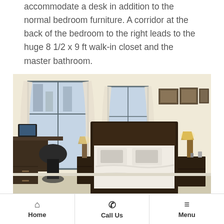The master bedroom is clearly large enough to accommodate a desk in addition to the normal bedroom furniture. A corridor at the back of the bedroom to the right leads to the huge 8 1/2 x 9 ft walk-in closet and the master bathroom.
[Figure (photo): Interior photo of a spacious master bedroom with cream walls, large windows with white curtains, a dark wood queen bed with white bedding, nightstands with lamps, three framed pictures on the wall, and a desk area with a black office chair on the left.]
Home | Call Us | Menu